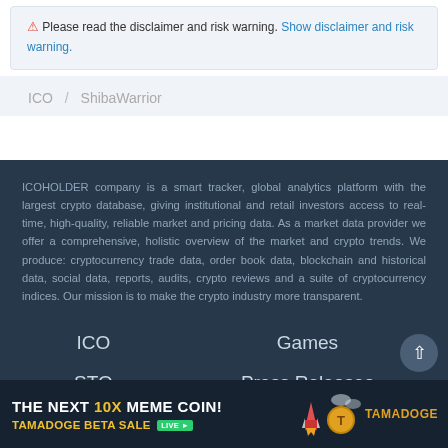⚠ Please read the disclaimer and risk warning. Show disclaimer and risk warning.
ICO / ShibaWarrior
ICOHOLDER company is a smart tracker, global analytics platform with the largest crypto database, giving institutional and retail investors access to real-time, high-quality, reliable market and pricing data. As a market data provider we offer a comprehensive, holistic overview of the market and crypto trends. We produce: cryptocurrency trade data, order book data, blockchain and historical data, social data, reports, audits, crypto reviews and a suite of cryptocurrency indices. Our mission is to make the crypto industry more transparent.
ICO
STO
IEO
Games
Press Releases
Statistics
[Figure (infographic): Tamadoge ad banner: THE NEXT 10X MEME COIN! TAMADOGE BETA SALE LIVE with rocket and coin logo]